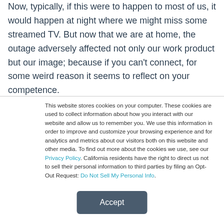Now, typically, if this were to happen to most of us, it would happen at night where we might miss some streamed TV. But now that we are at home, the outage adversely affected not only our work product but our image; because if you can't connect, for some weird reason it seems to reflect on your competence.
This website stores cookies on your computer. These cookies are used to collect information about how you interact with our website and allow us to remember you. We use this information in order to improve and customize your browsing experience and for analytics and metrics about our visitors both on this website and other media. To find out more about the cookies we use, see our Privacy Policy. California residents have the right to direct us not to sell their personal information to third parties by filing an Opt-Out Request: Do Not Sell My Personal Info.